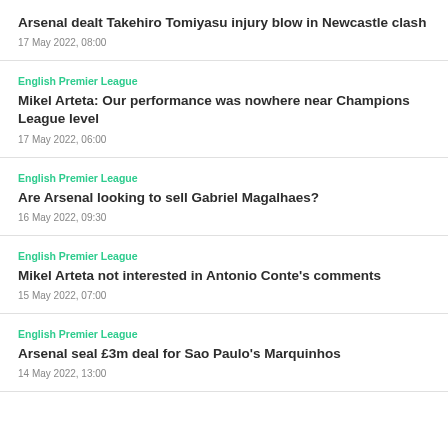Arsenal dealt Takehiro Tomiyasu injury blow in Newcastle clash
17 May 2022, 08:00
English Premier League
Mikel Arteta: Our performance was nowhere near Champions League level
17 May 2022, 06:00
English Premier League
Are Arsenal looking to sell Gabriel Magalhaes?
16 May 2022, 09:30
English Premier League
Mikel Arteta not interested in Antonio Conte's comments
15 May 2022, 07:00
English Premier League
Arsenal seal £3m deal for Sao Paulo's Marquinhos
14 May 2022, 13:00